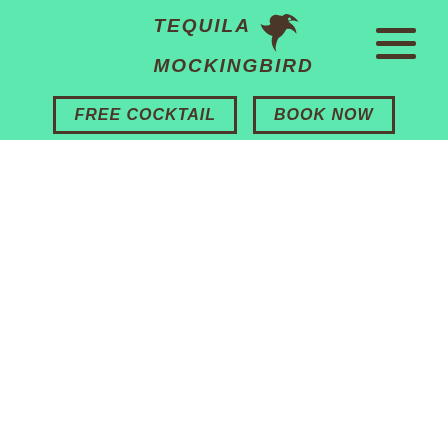[Figure (logo): Tequila Mockingbird logo with a bird silhouette and italic uppercase text, on a mint green background]
[Figure (other): Hamburger menu icon (three horizontal lines) on mint green background]
FREE COCKTAIL
BOOK NOW